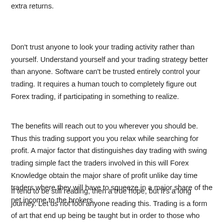extra returns.
Don't trust anyone to look your trading activity rather than yourself. Understand yourself and your trading strategy better than anyone. Software can't be trusted entirely control your trading. It requires a human touch to completely figure out Forex trading, if participating in something to realize.
The benefits will reach out to you wherever you should be. Thus this trading support you you relax while searching for profit. A major factor that distinguishes day trading with swing trading simple fact the traders involved in this will Forex Knowledge obtain the major share of profit unlike day time traders where they will have to squeeze in a major share of the net income to the brokers.
If tend to be still reading, then a true hope, but it's a long journey. Let us not fool anyone reading this. Trading is a form of art that end up being be taught but in order to those who truly need to learn. We call this hunger. Essentially the most costly method to